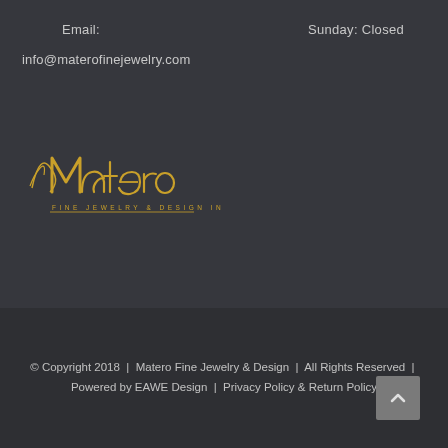Email:
Sunday: Closed
info@materofinejewelry.com
[Figure (logo): Matero Fine Jewelry & Design Inc logo in gold script lettering]
© Copyright 2018  |  Matero Fine Jewelry & Design  |  All Rights Reserved  |  Powered by EAWE Design  |  Privacy Policy & Return Policy